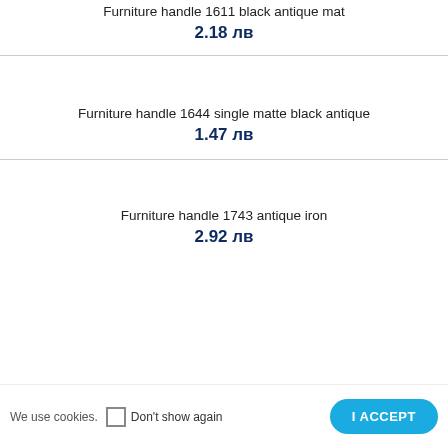Furniture handle 1611 black antique mat
2.18 лв
Furniture handle 1644 single matte black antique
1.47 лв
Furniture handle 1743 antique iron
2.92 лв
We use cookies.  Don't show again  I ACCEPT